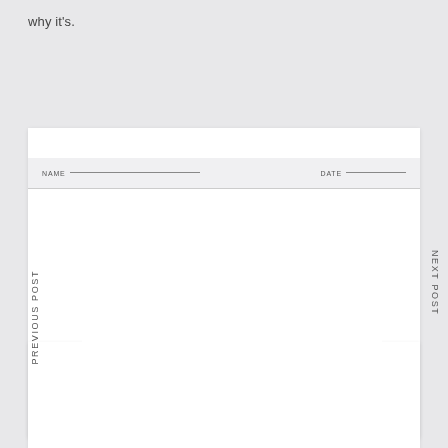why it's.
NAME __________ DATE __________
PRE - ALGEBRA
Solve each equation
PREVIOUS POST
NEXT POST